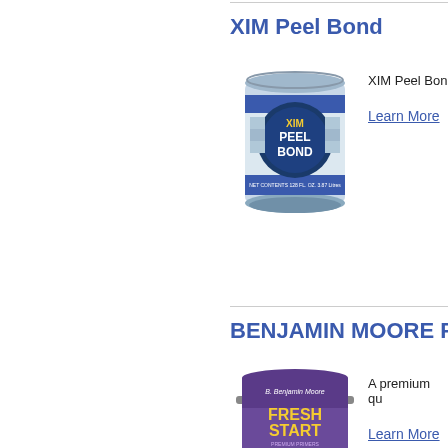XIM Peel Bond
[Figure (photo): Can of XIM Peel Bond primer product]
XIM Peel Bon
Learn More
BENJAMIN MOORE Fre
[Figure (photo): Can of Benjamin Moore Fresh Start Fast Dry Primer White 094 00]
A premium qu
Learn More